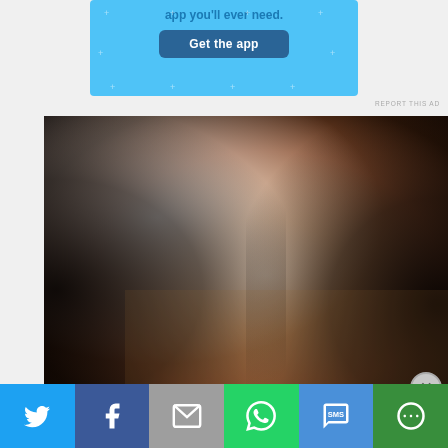[Figure (infographic): Blue advertisement banner with 'app you'll ever need.' text and 'Get the app' button with decorative plus signs]
REPORT THIS AD
[Figure (photo): Portrait photo of a smiling woman with long dark hair and red lipstick, bright background overexposure on left side]
Advertisements
[Figure (infographic): Social media share bar with Twitter, Facebook, Email, WhatsApp, SMS, and More buttons]